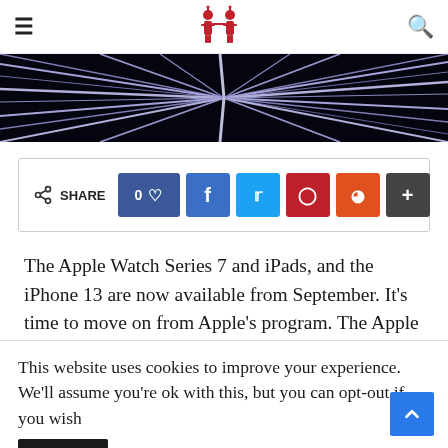≡ [site logo] 🔍
[Figure (photo): Dark abstract hero image with radial light streaks on black background]
[Figure (infographic): Social share bar with SHARE label, like count 0, Facebook, Twitter, Pinterest, Reddit, and more buttons]
The Apple Watch Series 7 and iPads, and the iPhone 13 are now available from September. It's time to move on from Apple's program. The Apple brand has announced that a new keynote will be held on October 18. MacBooks with the new homebrew chip should be
This website uses cookies to improve your experience. We'll assume you're ok with this, but you can opt-out if you wish
Accept   Read More